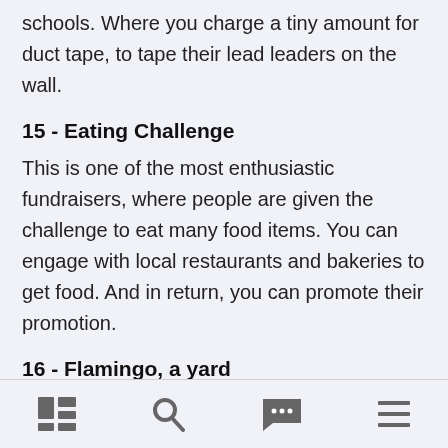schools. Where you charge a tiny amount for duct tape, to tape their lead leaders on the wall.
15 - Eating Challenge
This is one of the most enthusiastic fundraisers, where people are given the challenge to eat many food items. You can engage with local restaurants and bakeries to get food. And in return, you can promote their promotion.
16 - Flamingo, a yard
navigation bar with grid, search, more, and menu icons